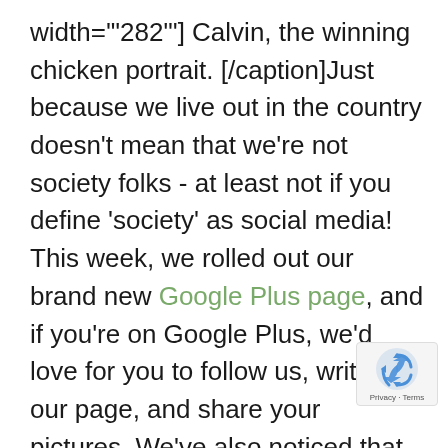width=""282""] Calvin, the winning chicken portrait. [/caption]Just because we live out in the country doesn't mean that we're not society folks - at least not if you define 'society' as social media! This week, we rolled out our brand new Google Plus page, and if you're on Google Plus, we'd love for you to follow us, write on our page, and share your pictures. We've also noticed that many of you have 'Pinned' us on Pinterest! Thanks so much for sharing about us with others. We're *thinking* about starting a Pinterest page especially for Reedy Fork Organic Farm. What do you think? Speaking of Pinterest a veterinarian office near us held a Pet Portrait contest on Pinterest last month. Kids drew portraits
[Figure (logo): reCAPTCHA badge with recycling-arrow icon and Privacy - Terms text]